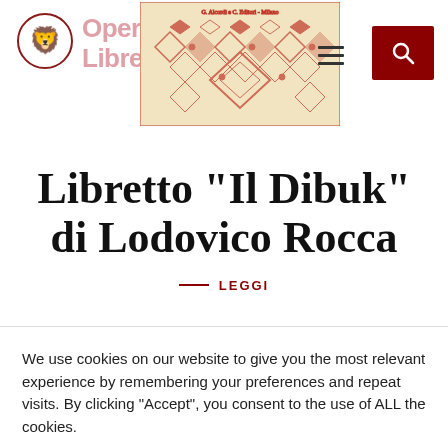[Figure (logo): Red circular lion/bear emblem logo of Opera Libretti website]
Opera Libretta
[Figure (illustration): Historical manuscript or decorative page with red geometric ornamental patterns on cream/beige background, with handwritten Italian text at top]
Libretto “Il Dibuk” di Lodovico Rocca
— LEGGI
We use cookies on our website to give you the most relevant experience by remembering your preferences and repeat visits. By clicking “Accept”, you consent to the use of ALL the cookies.
Cookie settings
ACCETTA